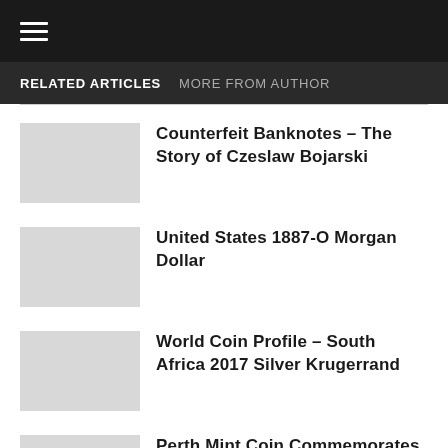☰
RELATED ARTICLES
MORE FROM AUTHOR
Counterfeit Banknotes – The Story of Czeslaw Bojarski
United States 1887-O Morgan Dollar
World Coin Profile – South Africa 2017 Silver Krugerand
Perth Mint Coin Commemorates 150th